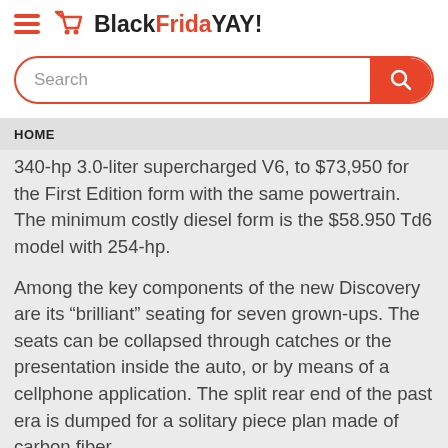BlackFridaYAY!
HOME
340-hp 3.0-liter supercharged V6, to $73,950 for the First Edition form with the same powertrain. The minimum costly diesel form is the $58.950 Td6 model with 254-hp.
Among the key components of the new Discovery are its “brilliant” seating for seven grown-ups. The seats can be collapsed through catches or the presentation inside the auto, or by means of a cellphone application. The split rear end of the past era is dumped for a solitary piece plan made of carbon fiber.